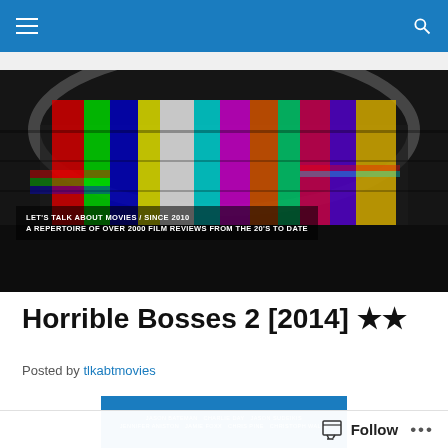Navigation bar with menu and search icons
[Figure (illustration): Colorful glitch-art banner showing a stadium/auditorium with vivid color bars (TV test pattern style) overlaid. Text overlay reads: LET'S TALK ABOUT MOVIES / SINCE 2010 / A REPERTOIRE OF OVER 2000 FILM REVIEWS FROM THE 20'S TO DATE]
Horrible Bosses 2 [2014] ★★
Posted by tlkabtmovies
[Figure (illustration): Partial movie poster/banner for Horrible Bosses 2 showing cast names: JASON BATEMAN  CHARLIE DAY  JASON SUDEIKIS, JENNIFER ANISTON  JAMIE FOXX  CHRIS PINE  CHRISTOPH WALTZ on a blue background]
Follow  •••